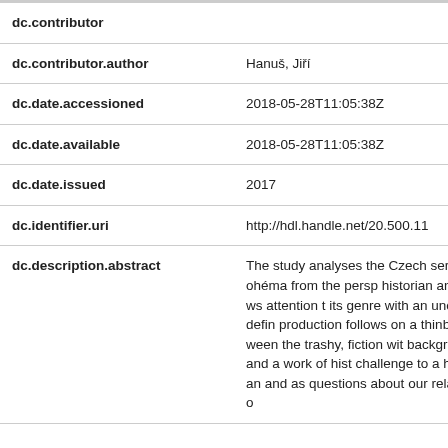| Field | Value |
| --- | --- |
| dc.contributor |  |
| dc.contributor.author | Hanuš, Jiří |
| dc.date.accessioned | 2018-05-28T11:05:38Z |
| dc.date.available | 2018-05-28T11:05:38Z |
| dc.date.issued | 2017 |
| dc.identifier.uri | http://hdl.handle.net/20.500.11 |
| dc.description.abstract | The study analyses the Czech series Bohéma from the persp historian anddraws attention t its genre with an unclear defin production follows on a thinbo between the trashy, fiction wit background, and a work of hist challenge to a historian and as questions about our relation to |